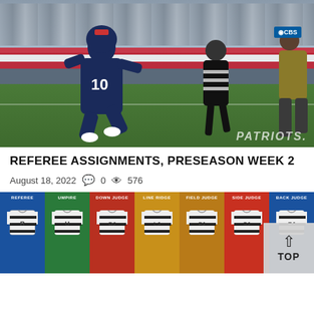[Figure (photo): NFL game photo showing New England Patriots quarterback #10 scrambling on the field with a referee and crowd in the background. CBS logo visible. Patriots watermark in bottom right.]
REFEREE ASSIGNMENTS, PRESEASON WEEK 2
August 18, 2022   0   576
[Figure (infographic): NFL referee position jersey infographic showing seven positions: REFEREE (blue), UMPIRE (green), DOWN JUDGE (red), LINE RIDGE (gold), FIELD JUDGE (gold), SIDE JUDGE (red), BACK JUDGE (blue). Each position shown with a striped referee jersey icon with position letter.]